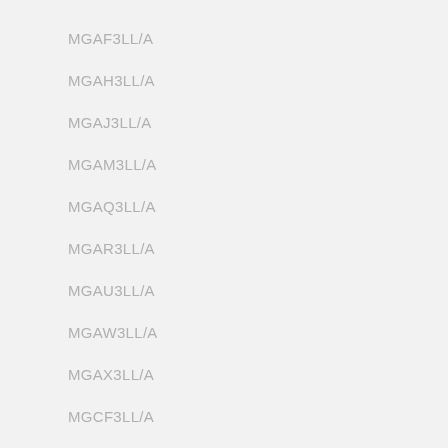MGAF3LL/A
MGAH3LL/A
MGAJ3LL/A
MGAM3LL/A
MGAQ3LL/A
MGAR3LL/A
MGAU3LL/A
MGAW3LL/A
MGAX3LL/A
MGCF3LL/A
MGCG3LL/A